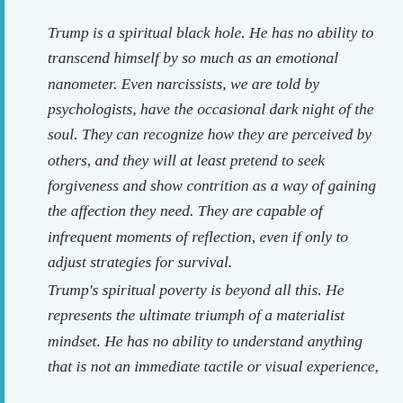Trump is a spiritual black hole. He has no ability to transcend himself by so much as an emotional nanometer. Even narcissists, we are told by psychologists, have the occasional dark night of the soul. They can recognize how they are perceived by others, and they will at least pretend to seek forgiveness and show contrition as a way of gaining the affection they need. They are capable of infrequent moments of reflection, even if only to adjust strategies for survival.
Trump's spiritual poverty is beyond all this. He represents the ultimate triumph of a materialist mindset. He has no ability to understand anything that is not an immediate tactile or visual experience,